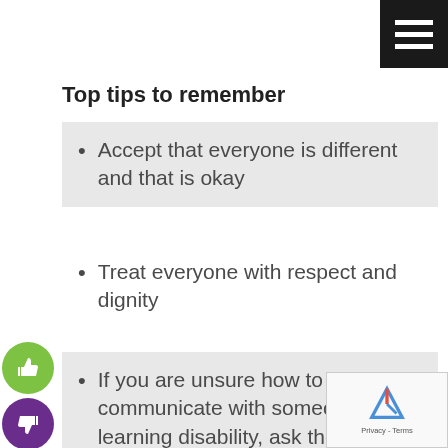Top tips to remember
Accept that everyone is different and that is okay
Treat everyone with respect and dignity
If you are unsure how to communicate with someone with a learning disability, ask them or people who know them best
Create an atmosphere where people are and feel included